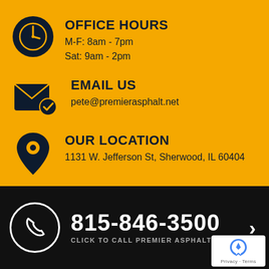OFFICE HOURS
M-F: 8am - 7pm
Sat: 9am - 2pm
EMAIL US
pete@premierasphalt.net
OUR LOCATION
1131 W. Jefferson St, Sherwood, IL 60404
815-846-3500
CLICK TO CALL PREMIER ASPHALT
[Figure (logo): reCAPTCHA badge with Privacy and Terms links]